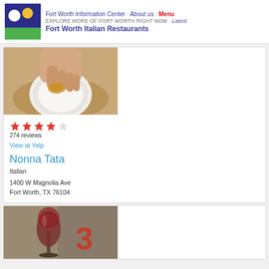Fort Worth Information Center · About us · Menu
EXPLORE MORE OF FORT WORTH RIGHT NOW · Latest
Fort Worth Italian Restaurants
[Figure (photo): Close-up photo of a hand holding a piece of bread over a white plate, restaurant setting.]
[Figure (other): 4.5 star Yelp rating graphic with 5 red star icons (4 filled, 1 partial/empty)]
274 reviews
View at Yelp
Nonna Tata
Italian
1400 W Magnolia Ave
Fort Worth, TX 76104
[Figure (photo): Photo of a wine glass with red wine in a restaurant, with a number 3 visible in the background.]